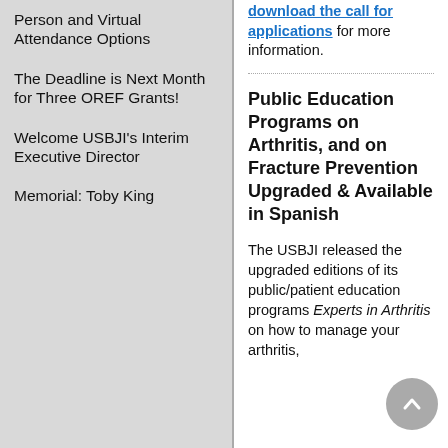Person and Virtual Attendance Options
The Deadline is Next Month for Three OREF Grants!
Welcome USBJI's Interim Executive Director
Memorial: Toby King
download the call for applications for more information.
Public Education Programs on Arthritis, and on Fracture Prevention Upgraded & Available in Spanish
The USBJI released the upgraded editions of its public/patient education programs Experts in Arthritis on how to manage your arthritis,